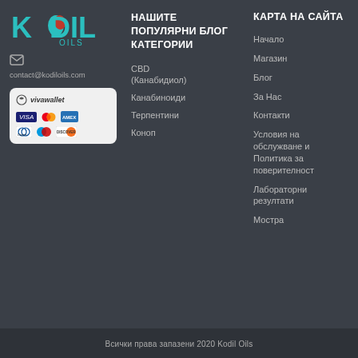[Figure (logo): Kodil Oils logo with red leaf design, teal K letter, and OILS text]
contact@kodiloils.com
[Figure (infographic): Viva Wallet payment options card showing VISA, Mastercard, American Express, Diners Club, Maestro, Discover]
НАШИТЕ ПОПУЛЯРНИ БЛОГ КАТЕГОРИИ
CBD (Канабидиол)
Канабиноиди
Терпентини
Конoп
КАРТА НА САЙТА
Начало
Магазин
Блог
За Нас
Контакти
Условия на обслужване и Политика за поверителност
Лабораторни резултати
Мостра
Всички права запазени 2020 Kodil Oils